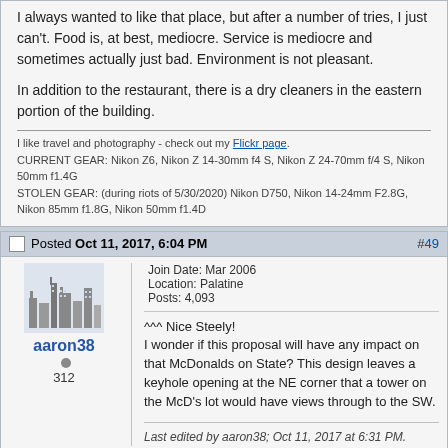I always wanted to like that place, but after a number of tries, I just can't. Food is, at best, mediocre. Service is mediocre and sometimes actually just bad. Environment is not pleasant.

In addition to the restaurant, there is a dry cleaners in the eastern portion of the building.
I like travel and photography - check out my Flickr page.
CURRENT GEAR: Nikon Z6, Nikon Z 14-30mm f4 S, Nikon Z 24-70mm f/4 S, Nikon 50mm f1.4G
STOLEN GEAR: (during riots of 5/30/2020) Nikon D750, Nikon 14-24mm F2.8G, Nikon 85mm f1.8G, Nikon 50mm f1.4D
Posted Oct 11, 2017, 6:04 PM  #49
aaron38
312
Join Date: Mar 2006
Location: Palatine
Posts: 4,093
^^^ Nice Steely!
I wonder if this proposal will have any impact on that McDonalds on State? This design leaves a keyhole opening at the NE corner that a tower on the McD's lot would have views through to the SW.
Last edited by aaron38; Oct 11, 2017 at 6:31 PM.
Posted Oct 11, 2017, 6:13 PM  #50